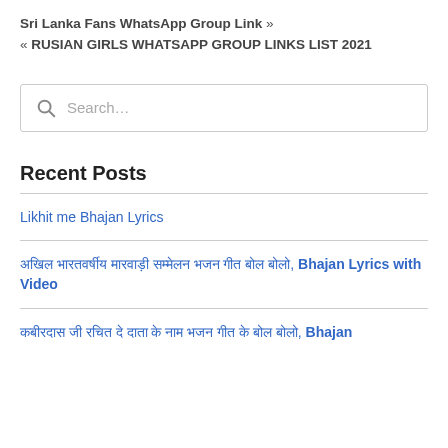Sri Lanka Fans WhatsApp Group Link » « RUSIAN GIRLS WHATSAPP GROUP LINKS LIST 2021
Search…
Recent Posts
Likhit me Bhajan Lyrics
अखिल भारतवर्षीय मारवाड़ी सम्मेलन भजन गीत बोल बोलो, Bhajan Lyrics with Video
कबीरदास जी रचित दे दाता के नाम भजन गीत के बोल बोलो, Bhajan